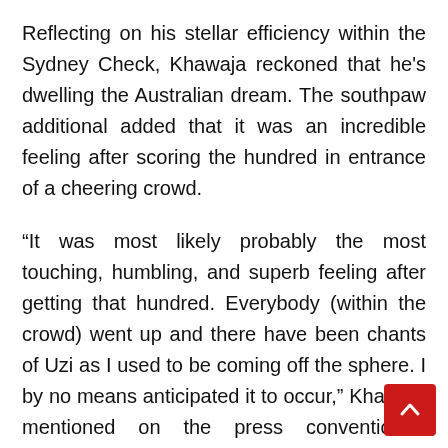Reflecting on his stellar efficiency within the Sydney Check, Khawaja reckoned that he's dwelling the Australian dream. The southpaw additional added that it was an incredible feeling after scoring the hundred in entrance of a cheering crowd.
“It was most likely probably the most touching, humbling, and superb feeling after getting that hundred. Everybody (within the crowd) went up and there have been chants of Uzi as I used to be coming off the sphere. I by no means anticipated it to occur,” Khawaja mentioned on the press convention.“It normally occurs to bowlers, batters don’t normally get that form of therapy. So, to have that was unbelievable,” he added.